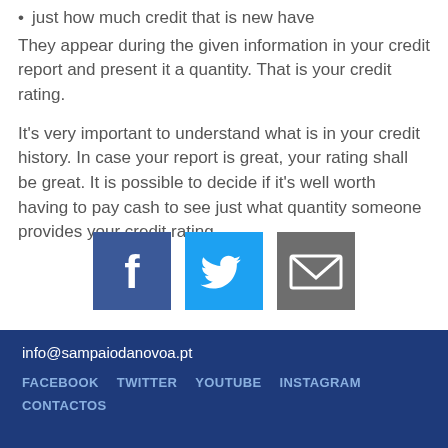just how much credit that is new have
They appear during the given information in your credit report and present it a quantity. That is your credit rating.
It's very important to understand what is in your credit history. In case your report is great, your rating shall be great. It is possible to decide if it's well worth having to pay cash to see just what quantity someone provides your credit rating.
[Figure (infographic): Three social media share buttons: Facebook (blue with f logo), Twitter (light blue with bird logo), Email (grey with envelope icon)]
info@sampaiodanovoa.pt
FACEBOOK  TWITTER  YOUTUBE  INSTAGRAM
CONTACTOS